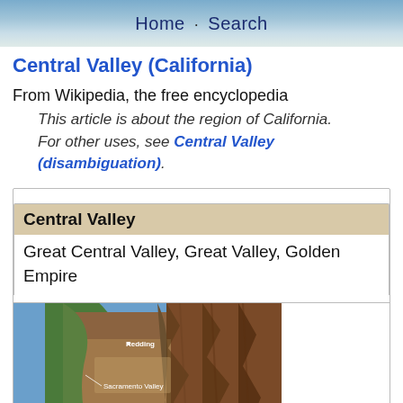Home · Search
Central Valley (California)
From Wikipedia, the free encyclopedia
    This article is about the region of California. For other uses, see Central Valley (disambiguation).
| Central Valley |
| --- |
| Great Central Valley, Great Valley, Golden Empire |
[Figure (map): Topographic/relief map of California showing the Central Valley region, with labels for Redding, Sacramento Valley, and Sacramento.]